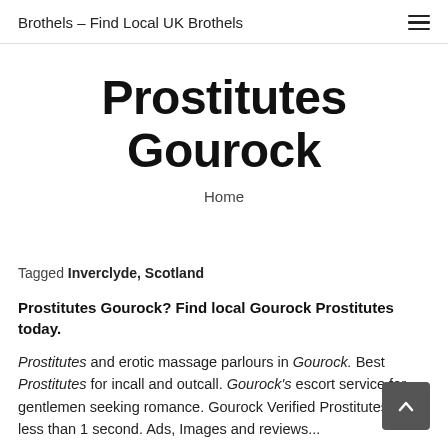Brothels – Find Local UK Brothels
Prostitutes Gourock
Home
Tagged Inverclyde, Scotland
Prostitutes Gourock? Find local Gourock Prostitutes today.
Prostitutes and erotic massage parlours in Gourock. Best Prostitutes for incall and outcall. Gourock's escort service for gentlemen seeking romance. Gourock Verified Prostitutes in less than 1 second. Ads, Images and reviews...